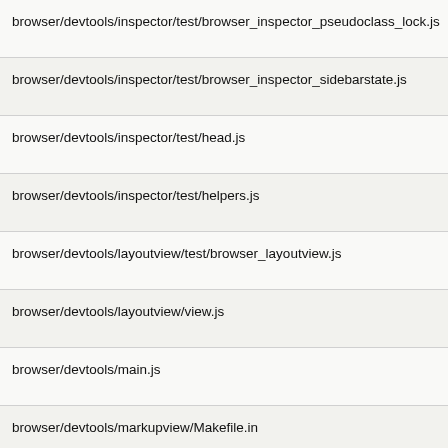browser/devtools/inspector/test/browser_inspector_pseudoclass_lock.js
browser/devtools/inspector/test/browser_inspector_sidebarstate.js
browser/devtools/inspector/test/head.js
browser/devtools/inspector/test/helpers.js
browser/devtools/layoutview/test/browser_layoutview.js
browser/devtools/layoutview/view.js
browser/devtools/main.js
browser/devtools/markupview/Makefile.in